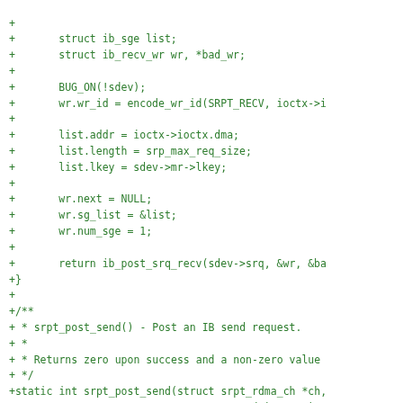[Figure (other): Source code diff (patch) showing additions to a C file implementing srpt_post_recv and beginning of srpt_post_send functions, displayed in green monospace text on white background.]